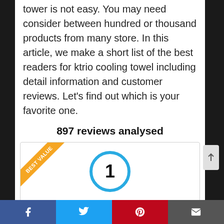tower is not easy. You may need consider between hundred or thousand products from many store. In this article, we make a short list of the best readers for ktrio cooling towel including detail information and customer reviews. Let’s find out which is your favorite one.
897 reviews analysed
[Figure (infographic): Card with 'BEST VALUE' ribbon in top-left corner, a blue circle badge with number 1 in the center, and a water splash product image at the bottom.]
Facebook | Twitter | Pinterest | Email